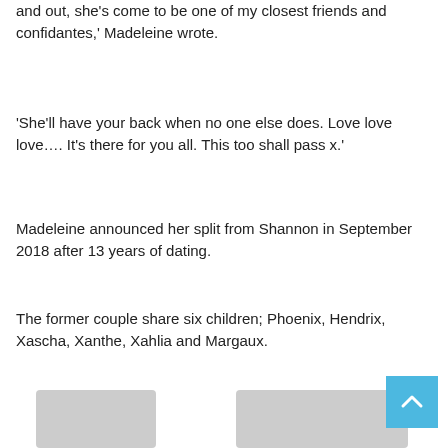and out, she's come to be one of my closest friends and confidantes,' Madeleine wrote.
'She'll have your back when no one else does. Love love love…. It's there for you all. This too shall pass x.'
Madeleine announced her split from Shannon in September 2018 after 13 years of dating.
The former couple share six children; Phoenix, Hendrix, Xascha, Xanthe, Xahlia and Margaux.
[Figure (photo): Partially visible placeholder image of two people]